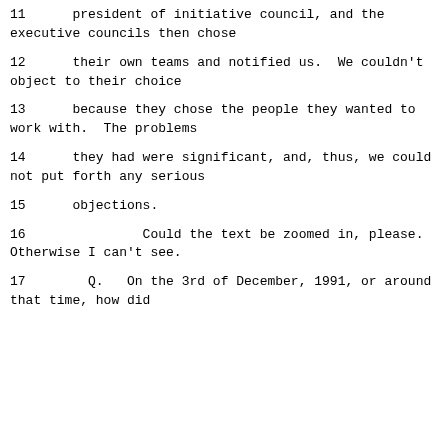11      president of initiative council, and the executive councils then chose
12      their own teams and notified us.  We couldn't object to their choice
13      because they chose the people they wanted to work with.  The problems
14      they had were significant, and, thus, we could not put forth any serious
15      objections.
16               Could the text be zoomed in, please. Otherwise I can't see.
17        Q.   On the 3rd of December, 1991, or around that time, how did